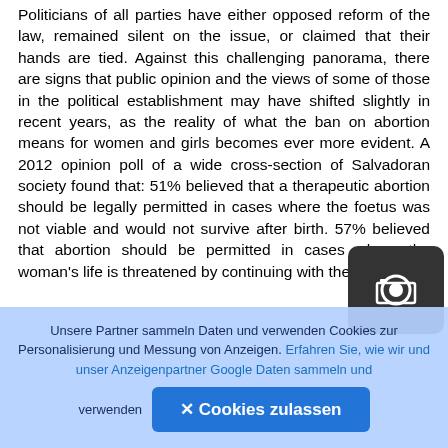Politicians of all parties have either opposed reform of the law, remained silent on the issue, or claimed that their hands are tied. Against this challenging panorama, there are signs that public opinion and the views of some of those in the political establishment may have shifted slightly in recent years, as the reality of what the ban on abortion means for women and girls becomes ever more evident. A 2012 opinion poll of a wide cross-section of Salvadoran society found that: 51% believed that a therapeutic abortion should be legally permitted in cases where the foetus was not viable and would not survive after birth. 57% believed that abortion should be permitted in cases where the woman's life is threatened by continuing with the pregnancy.
Unsere Partner sammeln Daten und verwenden Cookies zur Personalisierung und Messung von Anzeigen. Erfahren Sie, wie wir und unser Anzeigenpartner Google Daten sammeln und verwenden